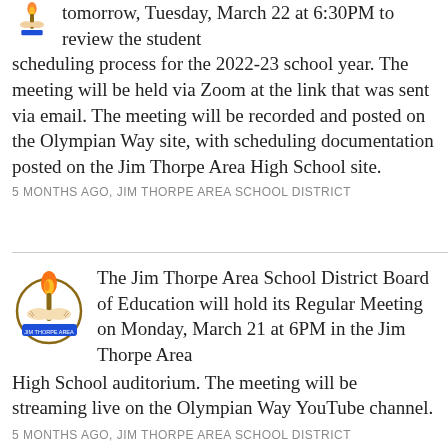tomorrow, Tuesday, March 22 at 6:30PM to review the student scheduling process for the 2022-23 school year. The meeting will be held via Zoom at the link that was sent via email. The meeting will be recorded and posted on the Olympian Way site, with scheduling documentation posted on the Jim Thorpe Area High School site.
5 MONTHS AGO, JIM THORPE AREA SCHOOL DISTRICT
[Figure (logo): Jim Thorpe Area School District logo: torch with flame held by hands, blue banner below]
The Jim Thorpe Area School District Board of Education will hold its Regular Meeting on Monday, March 21 at 6PM in the Jim Thorpe Area High School auditorium. The meeting will be streaming live on the Olympian Way YouTube channel.
5 MONTHS AGO, JIM THORPE AREA SCHOOL DISTRICT